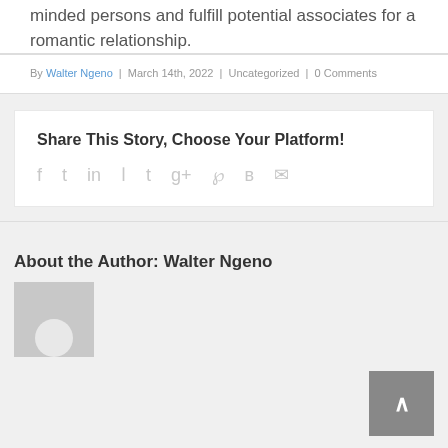minded persons and fulfill potential associates for a romantic relationship.
By Walter Ngeno | March 14th, 2022 | Uncategorized | 0 Comments
Share This Story, Choose Your Platform!
f  t  in  reddit  t  g+  p  vk  email
About the Author: Walter Ngeno